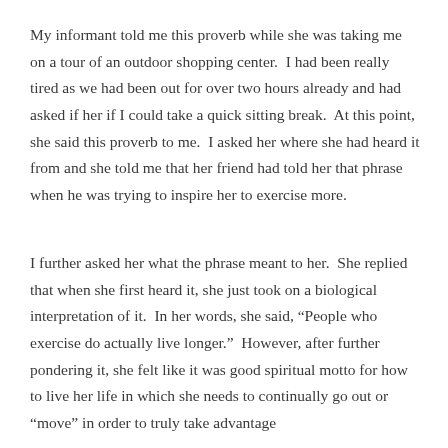My informant told me this proverb while she was taking me on a tour of an outdoor shopping center.  I had been really tired as we had been out for over two hours already and had asked if her if I could take a quick sitting break.  At this point, she said this proverb to me.  I asked her where she had heard it from and she told me that her friend had told her that phrase when he was trying to inspire her to exercise more.
I further asked her what the phrase meant to her.  She replied that when she first heard it, she just took on a biological interpretation of it.  In her words, she said, “People who exercise do actually live longer.”  However, after further pondering it, she felt like it was good spiritual motto for how to live her life in which she needs to continually go out or “move” in order to truly take advantage